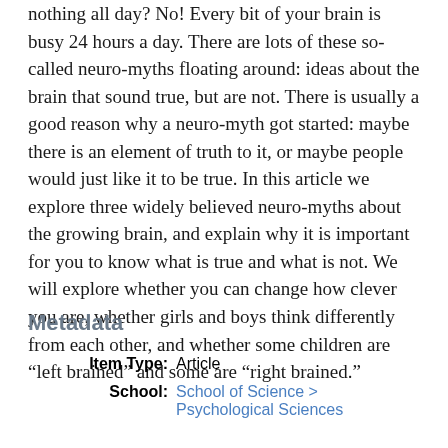nothing all day? No! Every bit of your brain is busy 24 hours a day. There are lots of these so-called neuro-myths floating around: ideas about the brain that sound true, but are not. There is usually a good reason why a neuro-myth got started: maybe there is an element of truth to it, or maybe people would just like it to be true. In this article we explore three widely believed neuro-myths about the growing brain, and explain why it is important for you to know what is true and what is not. We will explore whether you can change how clever you are, whether girls and boys think differently from each other, and whether some children are “left brained” and some are “right brained.”
Metadata
| Field | Value |
| --- | --- |
| Item Type: | Article |
| School: | School of Science > Psychological Sciences |